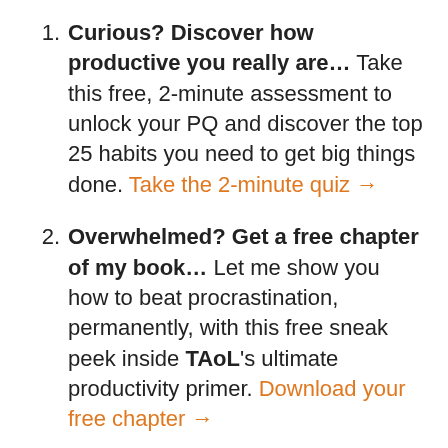Curious? Discover how productive you really are… Take this free, 2-minute assessment to unlock your PQ and discover the top 25 habits you need to get big things done. Take the 2-minute quiz →
Overwhelmed? Get a free chapter of my book… Let me show you how to beat procrastination, permanently, with this free sneak peek inside TAoL's ultimate productivity primer. Download your free chapter →
Stuck? Grab a 90-Day TRACKTION Planner… Get the tool thousands trust to